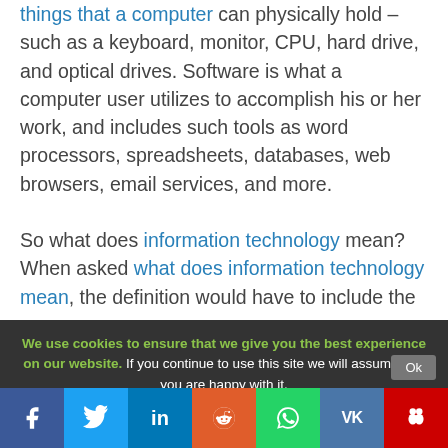things that a computer can physically hold – such as a keyboard, monitor, CPU, hard drive, and optical drives. Software is what a computer user utilizes to accomplish his or her work, and includes such tools as word processors, spreadsheets, databases, web browsers, email services, and more.

So what does information technology mean? When asked what does information technology mean, the definition would have to include the
We use cookies to ensure that we give you the best experience on our website. If you continue to use this site we will assume that you are happy with it.